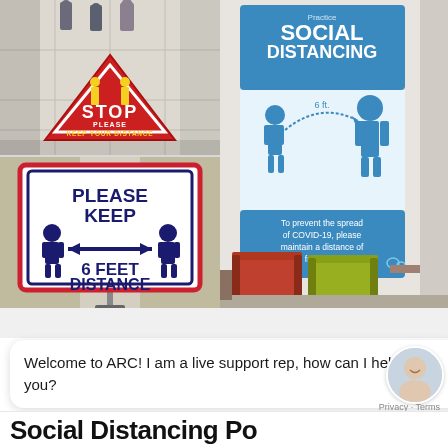[Figure (photo): Top-left: Red triangular STOP floor sign reading 'STOP PLEASE KEEP YOUR DISTANCE' on tiled floor with pedestrians]
[Figure (photo): Bottom-left: White sign on stand reading 'PLEASE KEEP 6 FEET DISTANCE' with two person icons and double arrow]
[Figure (photo): Right: Social distancing poster in waiting room with chairs, poster reads 'Practice SOCIAL DISTANCING' with 6ft icon and text 'To prevent the spread of COVID-19, please maintain a distance of 6 feet from others']
Welcome to ARC! I am a live support rep, how can I help you?
Privacy · Terms
Social Distancing Po...